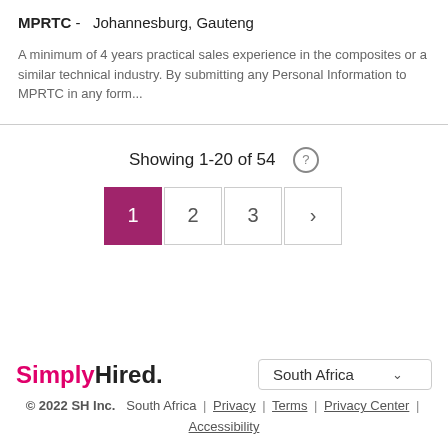MPRTC -  Johannesburg, Gauteng
A minimum of 4 years practical sales experience in the composites or a similar technical industry. By submitting any Personal Information to MPRTC in any form...
Showing 1-20 of 54
1 2 3 >
SimplyHired. South Africa © 2022 SH Inc. South Africa | Privacy | Terms | Privacy Center | Accessibility